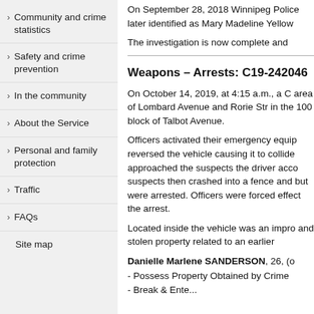Community and crime statistics
Safety and crime prevention
In the community
About the Service
Personal and family protection
Traffic
FAQs
Site map
On September 28, 2018 Winnipeg Polic later identified as Mary Madeline Yellow
The investigation is now complete and
Weapons – Arrests: C19-242046
On October 14, 2019, at 4:15 a.m., a C area of Lombard Avenue and Rorie Str in the 100 block of Talbot Avenue.
Officers activated their emergency equ reversed the vehicle causing it to collid approached the suspects the driver acc suspects then crashed into a fence and but were arrested. Officers were forced effect the arrest.
Located inside the vehicle was an imp and stolen property related to an earlie
Danielle Marlene SANDERSON, 26, (
- Possess Property Obtained by Crime
- Break & Ente...